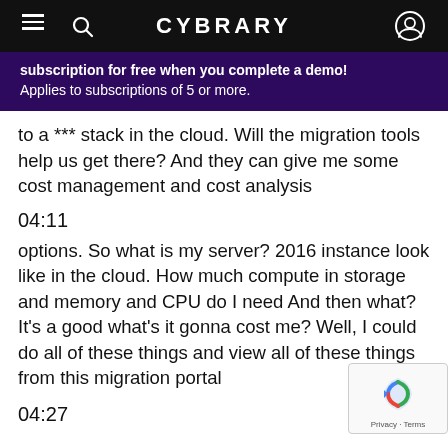CYBRARY
subscription for free when you complete a demo! Applies to subscriptions of 5 or more.
to a *** stack in the cloud. Will the migration tools help us get there? And they can give me some cost management and cost analysis
04:11
options. So what is my server? 2016 instance look like in the cloud. How much compute in storage and memory and CPU do I need And then what? It's a good what's it gonna cost me? Well, I could do all of these things and view all of these things from this migration portal
04:27